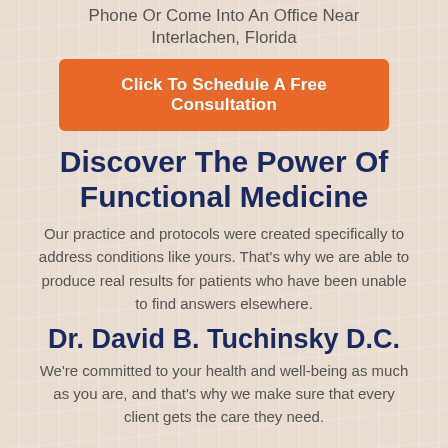Phone Or Come Into An Office Near Interlachen, Florida
Click To Schedule A Free Consultation
Discover The Power Of Functional Medicine
Our practice and protocols were created specifically to address conditions like yours. That's why we are able to produce real results for patients who have been unable to find answers elsewhere.
Dr. David B. Tuchinsky D.C.
We're committed to your health and well-being as much as you are, and that's why we make sure that every client gets the care they need.